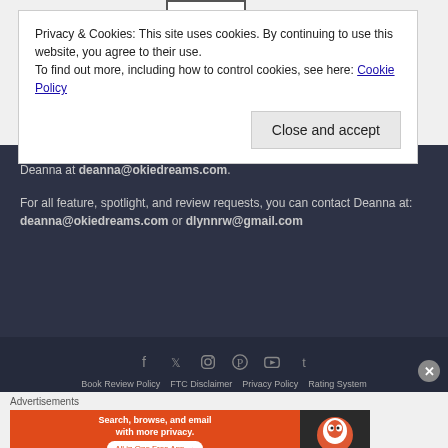[Figure (screenshot): Partially visible rectangular box outline at the top of the page]
Privacy & Cookies: This site uses cookies. By continuing to use this website, you agree to their use. To find out more, including how to control cookies, see here: Cookie Policy
Close and accept
Deanna at deanna@okiedreams.com.
For all feature, spotlight, and review requests, you can contact Deanna at: deanna@okiedreams.com or dlynnrw@gmail.com
[Figure (screenshot): Social media icons row: Facebook, Twitter, Instagram, Pinterest, YouTube, Tumblr]
Book Review Policy   FTC Disclaimer   Privacy Policy   Rating System
Advertisements
[Figure (screenshot): DuckDuckGo advertisement banner: Search, browse, and email with more privacy. All in One Free App]